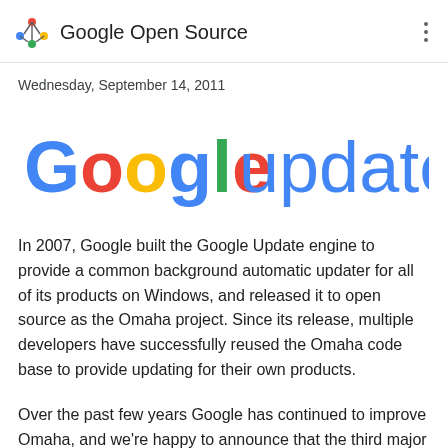Google Open Source
Wednesday, September 14, 2011
[Figure (logo): Google update logo with Google in colorful letters and 'update' in blue]
In 2007, Google built the Google Update engine to provide a common background automatic updater for all of its products on Windows, and released it to open source as the Omaha project. Since its release, multiple developers have successfully reused the Omaha code base to provide updating for their own products.
Over the past few years Google has continued to improve Omaha, and we're happy to announce that the third major release of Omaha has now been released